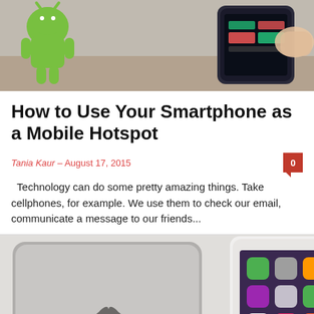[Figure (photo): Photo of Android mascot figurine and Samsung smartphone showing speed test on a wooden surface with a hand partially visible]
How to Use Your Smartphone as a Mobile Hotspot
Tania Kaur – August 17, 2015
Technology can do some pretty amazing things. Take cellphones, for example. We use them to check our email, communicate a message to our friends...
[Figure (photo): Photo of three iPads shown side by side — a silver iPad mini from the back, a white iPad mini showing the home screen being held by a hand, and a gold iPad mini from the back]